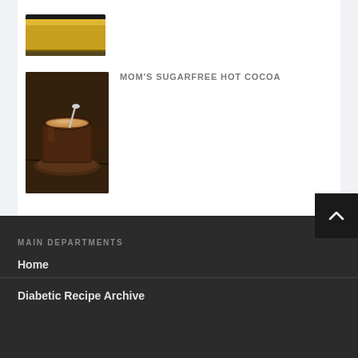[Figure (photo): Partial view of a yellow/golden food item on a dark plate, cropped at top]
[Figure (photo): A brown ceramic mug of hot cocoa with a spoon on a matching saucer on a dark wooden table]
MOM'S SUGARFREE HOT COCOA
MAIN DEPARTMENTS
Home
Diabetic Recipe Archive